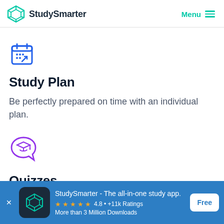StudySmarter  Menu
[Figure (illustration): Blue calendar icon with dots and upward arrow (study plan icon)]
Study Plan
Be perfectly prepared on time with an individual plan.
[Figure (illustration): Purple speech bubble with graduation cap icon (quizzes icon)]
Quizzes
StudySmarter - The all-in-one study app.
★★★★★ 4.8 • +11k Ratings
More than 3 Million Downloads